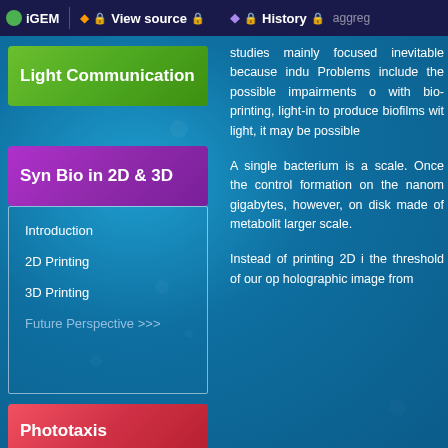iGEM | View source | History | aggreg...
Light Communication
Syn Bio in 2D & 3D
Introduction
2D Printing
3D Printing
Future Perspective >>>
Phototaxis
studies mainly focused inevitable because indu Problems include the possible impairments o with bio-printing, light-in to produce biofilms wit light, it may be possible
A single bacterium is a scale. Once the control formation on the nanom gigabytes, however, on disk made of metabolit larger scale.
Instead of printing 2D i the threshold of our op holographic image from